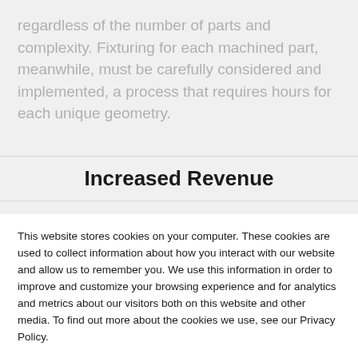regardless of the number of parts and complexity. Fixturing for each machined part, meanwhile, must be carefully considered and implemented, a process that requires hours for each unique geometry.
Increased Revenue
This website stores cookies on your computer. These cookies are used to collect information about how you interact with our website and allow us to remember you. We use this information in order to improve and customize your browsing experience and for analytics and metrics about our visitors both on this website and other media. To find out more about the cookies we use, see our Privacy Policy.
If you decline, your information won't be tracked when you visit this website. A single cookie will be used in your browser to remember your preference not to be tracked.
Accept
Decline